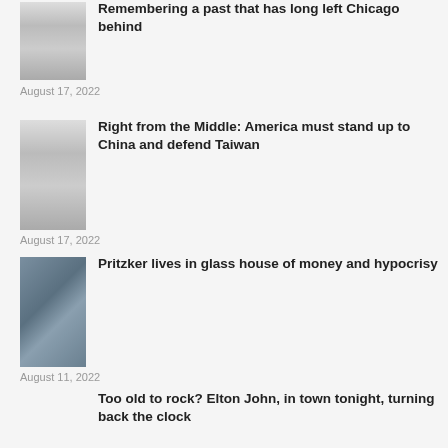Remembering a past that has long left Chicago behind
August 17, 2022
Right from the Middle: America must stand up to China and defend Taiwan
August 17, 2022
Pritzker lives in glass house of money and hypocrisy
August 11, 2022
Too old to rock? Elton John, in town tonight, turning back the clock